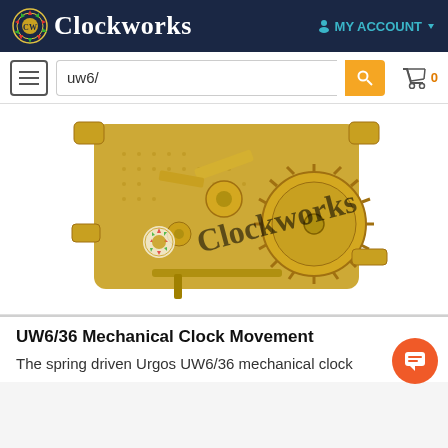Clockworks — MY ACCOUNT
uw6/
[Figure (photo): Gold-colored mechanical clock movement (UW6/36) with gears, springs, and escapement visible, watermarked with Clockworks logo]
UW6/36 Mechanical Clock Movement
The spring driven Urgos UW6/36 mechanical clock